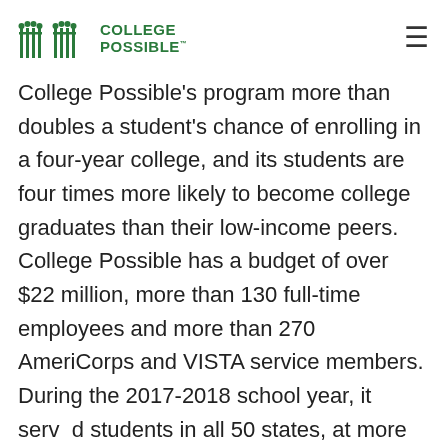College Possible
College Possible's program more than doubles a student's chance of enrolling in a four-year college, and its students are four times more likely to become college graduates than their low-income peers. College Possible has a budget of over $22 million, more than 130 full-time employees and more than 270 AmeriCorps and VISTA service members. During the 2017-2018 school year, it served students in all 50 states, at more than 90